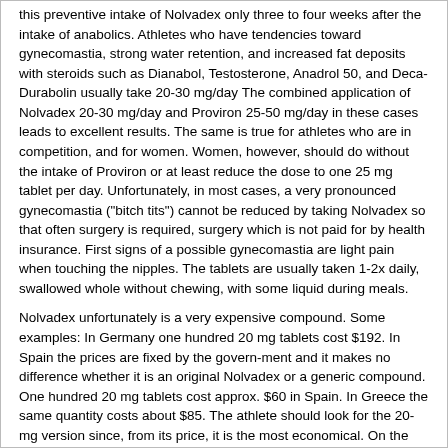this preventive intake of Nolvadex only three to four weeks after the intake of anabolics. Athletes who have tendencies toward gynecomastia, strong water retention, and increased fat deposits with steroids such as Dianabol, Testosterone, Anadrol 50, and Deca-Durabolin usually take 20-30 mg/day The combined application of Nolvadex 20-30 mg/day and Proviron 25-50 mg/day in these cases leads to excellent results. The same is true for athletes who are in competition, and for women. Women, however, should do without the intake of Proviron or at least reduce the dose to one 25 mg tablet per day. Unfortunately, in most cases, a very pronounced gynecomastia ("bitch tits") cannot be reduced by taking Nolvadex so that often surgery is required, surgery which is not paid for by health insurance. First signs of a possible gynecomastia are light pain when touching the nipples. The tablets are usually taken 1-2x daily, swallowed whole without chewing, with some liquid during meals.
Nolvadex unfortunately is a very expensive compound. Some examples: In Germany one hundred 20 mg tablets cost $192. In Spain the prices are fixed by the govern-ment and it makes no difference whether it is an original Nolvadex or a generic compound. One hundred 20 mg tablets cost approx. $60 in Spain. In Greece the same quantity costs about $85. The athlete should look for the 20-mg version since, from its price, it is the most economical. On the black-market, mostly the foreign Nolvadex can be found costing about $2 - 3 per 20 mg tablet. Origi-nal Nolvadex tablets can be easily identified since, on the front, ICI (name of the manufacturer) is stamped and, on the back, the name "Nolvadex". Most of the time the tablet strength is also imprinted. Ten tablets are included in an unusually large push through strip. In the U.S. original Nolvadex is packaged by the manufacturer, ICI Pharma, in small, white plastic boxes with a childproof screw cap. So far there are no fakes of Nolvadex and its generic products.